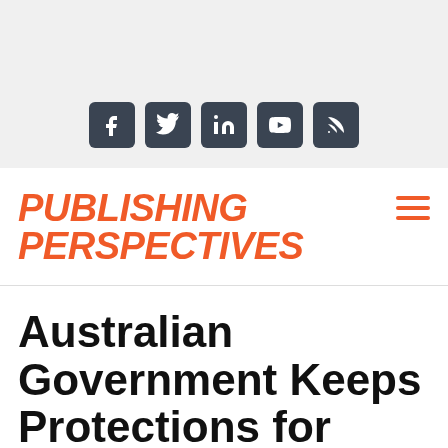[Figure (other): Gray banner with social media icons: Facebook, Twitter, LinkedIn, YouTube, RSS]
Publishing Perspectives
Australian Government Keeps Protections for Publishers